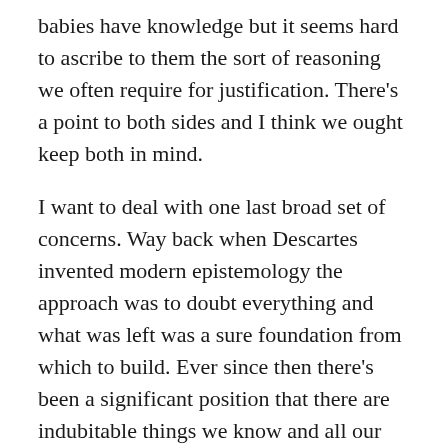babies have knowledge but it seems hard to ascribe to them the sort of reasoning we often require for justification. There's a point to both sides and I think we ought keep both in mind.
I want to deal with one last broad set of concerns. Way back when Descartes invented modern epistemology the approach was to doubt everything and what was left was a sure foundation from which to build. Ever since then there's been a significant position that there are indubitable things we know and all our other knowledge is built out of these. Those foundations might be sense data or basic pieces of knowledge we can verify.
Especially the last century foundationalism has come under more disrepute. Some note that our ability to believe or doubt says nothing about the truth of a position. Some argue that we can't even control what we believe and that foundationalism should be...